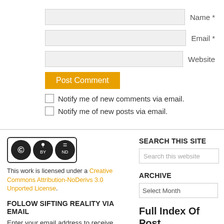Name *
Email *
Website
Post Comment
Notify me of new comments via email.
Notify me of new posts via email.
[Figure (logo): Creative Commons BY-ND license badge]
This work is licensed under a Creative Commons Attribution-NoDerivs 3.0 Unported License.
FOLLOW SIFTING REALITY VIA EMAIL
Enter your email address to receive notifications of new posts by email.
Enter your email address
SEARCH THIS SITE
Search this website
ARCHIVE
Select Month
Full Index Of Post